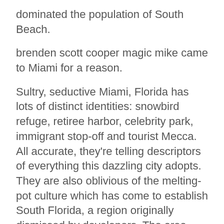dominated the population of South Beach.
brenden scott cooper magic mike came to Miami for a reason.
Sultry, seductive Miami, Florida has lots of distinct identities: snowbird refuge, retiree harbor, celebrity park, immigrant stop-off and tourist Mecca. All accurate, they're telling descriptors of everything this dazzling city adopts. They are also oblivious of the melting-pot culture which has come to establish South Florida, a region originally dismissed by developers. The area later discovered purpose for a resort destination and as plantation property to